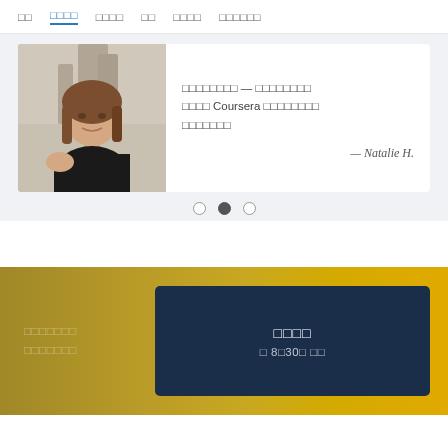Navigation bar with menu items (Coursera website header)
[Figure (screenshot): Testimonial card with photo of Natalie H. and quote text in non-Latin script followed by 'Coursera' and attribution '— Natalie H.']
— Natalie H.
[Figure (other): Carousel navigation dots (three circles, middle one filled)]
Call-to-action section with dark navy button and golden background. Button text in two lines.